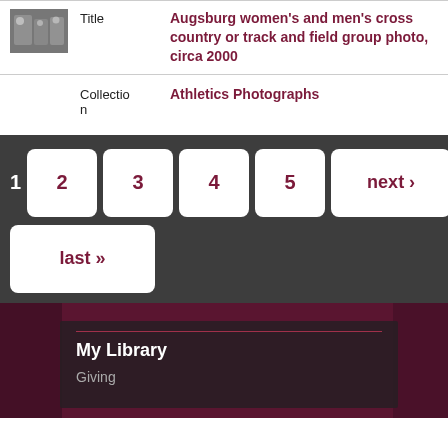[Figure (photo): Small thumbnail photo of a group of people in white uniforms]
Title
Augsburg women's and men's cross country or track and field group photo, circa 2000
Collection
Athletics Photographs
1  2  3  4  5  next ›  last »
My Library
Giving